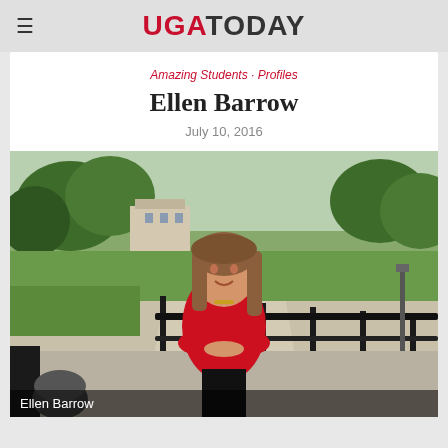UGA TODAY
Amazing Students · Profiles
Ellen Barrow
July 10, 2016
[Figure (photo): Ellen Barrow, a young woman with long brown hair wearing a red long-sleeve top, leaning on a black iron railing on the UGA campus with trees and a historic building in the background.]
Ellen Barrow